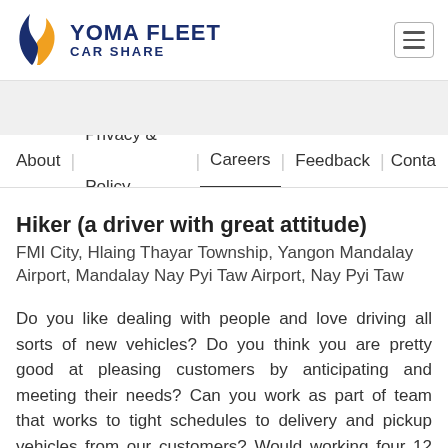[Figure (logo): Yoma Fleet Car Share logo with stylized flame icon in blue and orange, beside bold dark blue text 'YOMA FLEET' and 'CAR SHARE']
About | Privacy & Policy | Careers | Feedback | Conta
Hiker (a driver with great attitude)
FMI City, Hlaing Thayar Township, Yangon Mandalay Airport, Mandalay Nay Pyi Taw Airport, Nay Pyi Taw
Do you like dealing with people and love driving all sorts of new vehicles? Do you think you are pretty good at pleasing customers by anticipating and meeting their needs? Can you work as part of team that works to tight schedules to delivery and pickup vehicles from our customers? Would working four 12 hour days and then having three off every